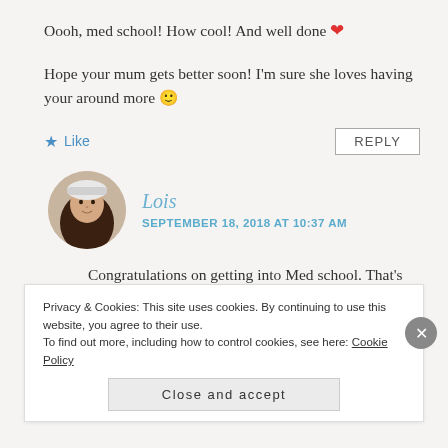Oooh, med school! How cool! And well done ❤
Hope your mum gets better soon! I'm sure she loves having your around more 🙂
Like   REPLY
[Figure (photo): Circular avatar photo of Lois, a young woman with dark hair wearing a white beanie hat, smiling]
Lois
SEPTEMBER 18, 2018 AT 10:37 AM
Congratulations on getting into Med school. That's
Privacy & Cookies: This site uses cookies. By continuing to use this website, you agree to their use.
To find out more, including how to control cookies, see here: Cookie Policy
Close and accept